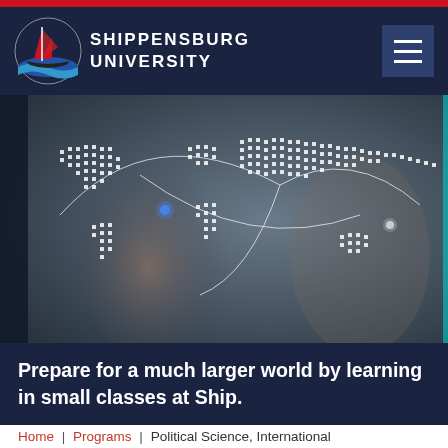[Figure (logo): Shippensburg University logo with ship emblem and university name in white on navy background]
[Figure (photo): Woman pointing at a holographic digital world map with dot-matrix continents and arc lines, blurred background with another person]
Prepare for a much larger world by learning in small classes at Ship.
Home | Programs | Political Science, International